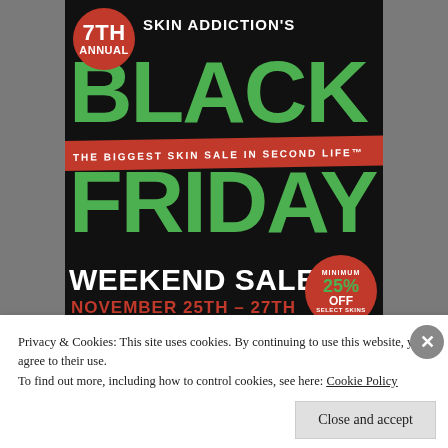[Figure (illustration): 7th Annual Skin Addiction's Black Friday Weekend Sale advertisement. Black background with large green 'BLACK FRIDAY' text, red ribbon banner saying 'THE BIGGEST SKIN SALE IN SECOND LIFE', white 'WEEKEND SALE' text, red 'NOVEMBER 25TH - 27TH' dates, red circular badge with '7TH ANNUAL', red circular badge with 'MINIMUM 25% OFF SELECT SKINS', and a strip of brand logos at the bottom.]
Privacy & Cookies: This site uses cookies. By continuing to use this website, you agree to their use.
To find out more, including how to control cookies, see here: Cookie Policy
Close and accept